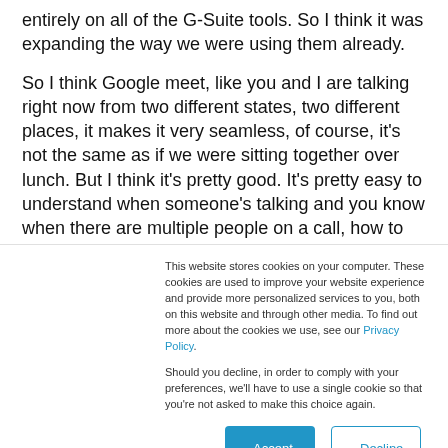entirely on all of the G-Suite tools. So I think it was expanding the way we were using them already.
So I think Google meet, like you and I are talking right now from two different states, two different places, it makes it very seamless, of course, it's not the same as if we were sitting together over lunch. But I think it's pretty good. It's pretty easy to understand when someone's talking and you know when there are multiple people on a call, how to make sure you're communicating right or using the raise a hand.
This website stores cookies on your computer. These cookies are used to improve your website experience and provide more personalized services to you, both on this website and through other media. To find out more about the cookies we use, see our Privacy Policy.
Should you decline, in order to comply with your preferences, we'll have to use a single cookie so that you're not asked to make this choice again.